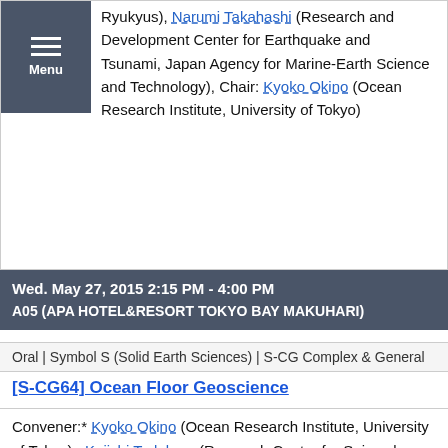Ryukyus), Narumi Takahashi (Research and Development Center for Earthquake and Tsunami, Japan Agency for Marine-Earth Science and Technology), Chair: Kyoko Okino (Ocean Research Institute, University of Tokyo)
Wed. May 27, 2015 2:15 PM - 4:00 PM
A05 (APA HOTEL&RESORT TOKYO BAY MAKUHARI)
Oral | Symbol S (Solid Earth Sciences) | S-CG Complex & General
[S-CG64] Ocean Floor Geoscience
Convener:* Kyoko Okino (Ocean Research Institute, University of Tokyo), Keiichi Tadokoro (Research Center for Seismology, Volcanology and Earthquake and Volcano Research Center, Nagoya University), Osamu Ishizuka (Geological Survey of Japan, AIST), Tomohiro Toki (Faculty of Science, University of the Ryukyus), Narumi Takahashi (Research and Development Center for Earthquake and Tsunami, Japan Agency for Marine-Earth Science and Technology), Chair: Mikiya Yamashita (Japan Agency